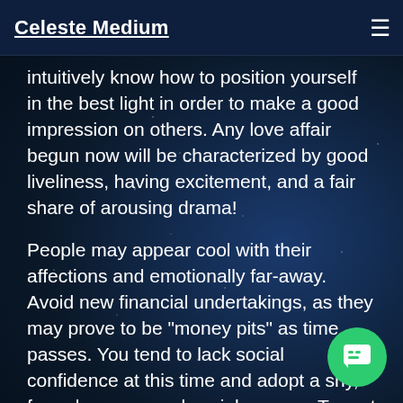Celeste Medium
intuitively know how to position yourself in the best light in order to make a good impression on others. Any love affair begun now will be characterized by good liveliness, having excitement, and a fair share of arousing drama!
People may appear cool with their affections and emotionally far-away. Avoid new financial undertakings, as they may prove to be "money pits" as time passes. You tend to lack social confidence at this time and adopt a shy, formal, or reserved social manner. Try not to read too much into situations, particularly social and romantic circumstances. Disappointments, separations, and broken engagements are some